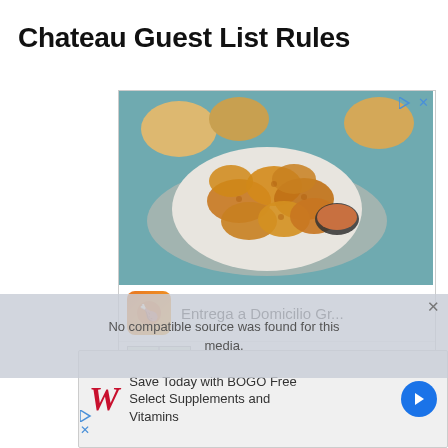Chateau Guest List Rules
[Figure (photo): Advertisement showing fried chicken pieces with dipping sauce on a plate with bread rolls in background. Below the food image: 'Entrega a Domicilio Gr...' with orange brand icon. Map section showing Pollo Campero, Herndon 10AM-10PM with navigation button.]
[Figure (infographic): Video player overlay showing 'No compatible source was found for this media.' with close button]
[Figure (infographic): Walgreens advertisement: 'Save Today with BOGO Free Select Supplements and Vitamins' with Walgreens W logo and navigation arrow button]